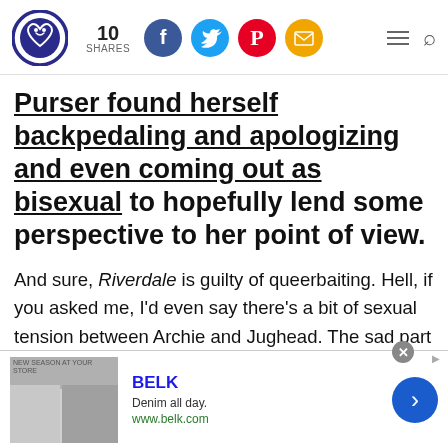10 SHARES [social share icons: Facebook, Twitter, Pinterest, Email] [hamburger menu] [search]
Purser found herself backpedaling and apologizing and even coming out as bisexual to hopefully lend some perspective to her point of view.
And sure, Riverdale is guilty of queerbaiting. Hell, if you asked me, I'd even say there's a bit of sexual tension between Archie and Jughead. The sad part is, Riverdale is just the tip of the iceberg.
[Figure (other): Advertisement banner: BELK brand, 'Denim all day. www.belk.com', with product images of women in denim on the left and a blue arrow navigation button on the right.]